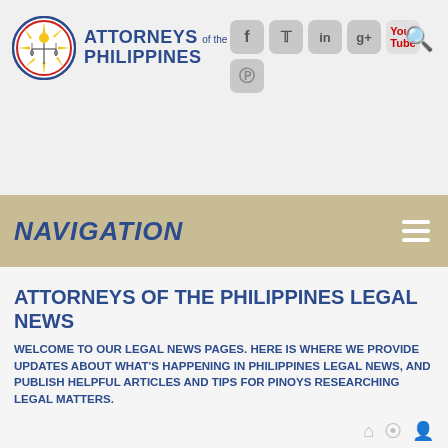[Figure (logo): Attorneys of the Philippines logo with circular emblem featuring Philippine sun and scales of justice, blue text]
[Figure (infographic): Social media icons: Facebook, Twitter, LinkedIn, Google+, YouTube, Pinterest; plus a search icon]
NAVIGATION
ATTORNEYS OF THE PHILIPPINES LEGAL NEWS
WELCOME TO OUR LEGAL NEWS PAGES. HERE IS WHERE WE PROVIDE UPDATES ABOUT WHAT'S HAPPENING IN PHILIPPINES LEGAL NEWS, AND PUBLISH HELPFUL ARTICLES AND TIPS FOR PINOYS RESEARCHING LEGAL MATTERS.